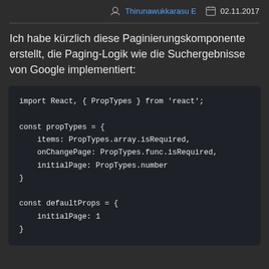Thirunawukkarasu E  02.11.2017
Ich habe kürzlich diese Paginierungskomponente erstellt, die Paging-Logik wie die Suchergebnisse von Google implementiert:
import React, { PropTypes } from 'react';

const propTypes = {
    items: PropTypes.array.isRequired,
    onChangePage: PropTypes.func.isRequired,
    initialPage: PropTypes.number
}

const defaultProps = {
    initialPage: 1
}